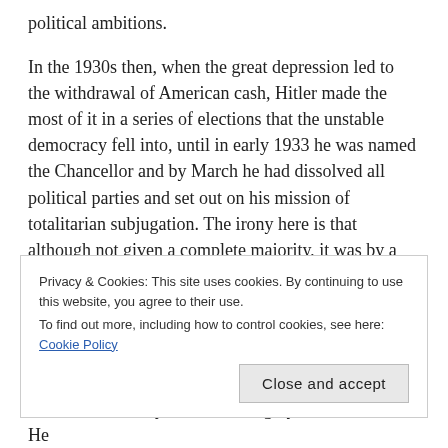political ambitions.
In the 1930s then, when the great depression led to the withdrawal of American cash, Hitler made the most of it in a series of elections that the unstable democracy fell into, until in early 1933 he was named the Chancellor and by March he had dissolved all political parties and set out on his mission of totalitarian subjugation. The irony here is that although not given a complete majority, it was by a democratic process and popular demand indeed that Hitler became the dictator of Germany.
LAYING DOWN THE FOUNDATION AND
Privacy & Cookies: This site uses cookies. By continuing to use this website, you agree to their use.
To find out more, including how to control cookies, see here: Cookie Policy
created a Germany which was highly self-sufficient. He